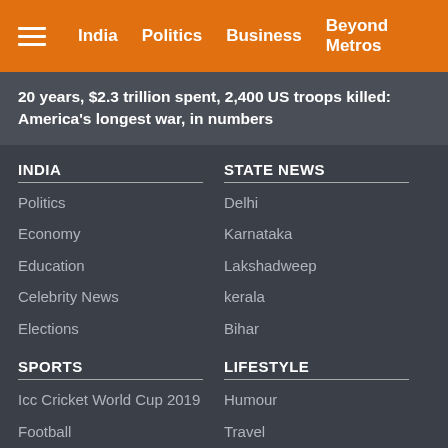India | Politics | Business | Beyond Metros
20 years, $2.3 trillion spent, 2,400 US troops killed: America's longest war, in numbers
INDIA
Politics
Economy
Education
Celebrity News
Elections
STATE NEWS
Delhi
Karnataka
Lakshadweep
kerala
Bihar
SPORTS
Icc Cricket World Cup 2019
Football
Kabaddi
LIFESTYLE
Humour
Travel
Fashion